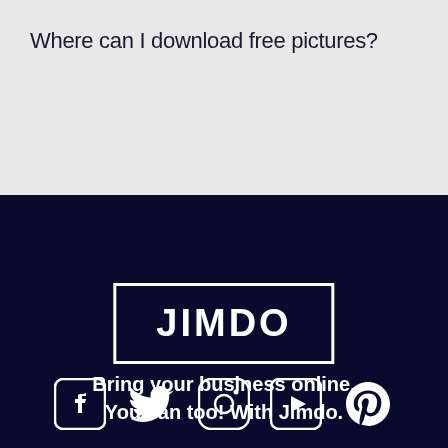Where can I download free pictures?
[Figure (logo): Jimdo logo: white text JIMDO inside a white rectangle border on dark navy background]
Bring your business online. You can too! With Jimdo.
[Figure (infographic): Social media icons: Facebook, Twitter, Instagram, YouTube, Pinterest — white on dark navy background]